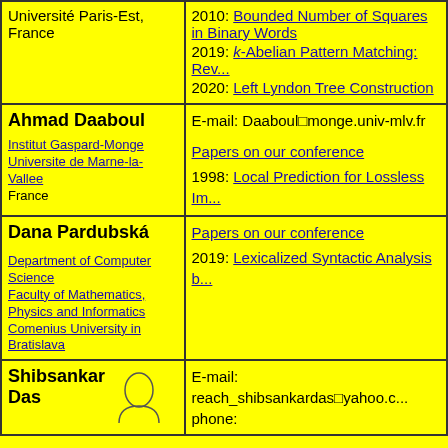| Université Paris-Est, France | 2010: Bounded Number of Squares in Binary Words
2019: k-Abelian Pattern Matching: Rev...
2020: Left Lyndon Tree Construction |
| Ahmad Daaboul
Institut Gaspard-Monge
Universite de Marne-la-Vallee
France | E-mail: Daaboul@monge.univ-mlv.fr
Papers on our conference
1998: Local Prediction for Lossless Im... |
| Dana Pardubská
Department of Computer Science
Faculty of Mathematics, Physics and Informatics
Comenius University in Bratislava | Papers on our conference
2019: Lexicalized Syntactic Analysis b... |
| Shibsankar Das [portrait icon] | E-mail: reach_shibsankardas@yahoo.c...
phone: |